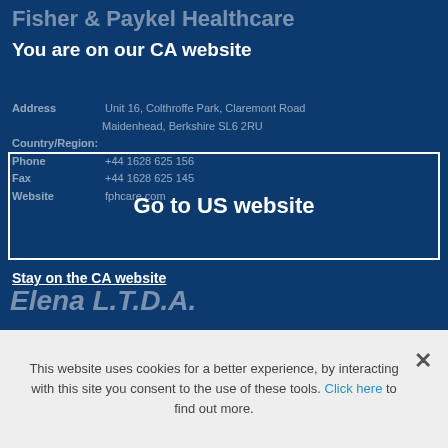Fisher & Paykel Healthcare
You are on our CA website
Address  Unit 16, Colthroffe Park, Claremont Road
Maidenhead, Berkshire SL6 2RU
Country/Region:
Phone  +44 1628 625 156
Fax  +44 1628 625 145
Website  fphcare.com
Go to US website
Stay on the CA website
Elena L.T.D.A.
This website uses cookies for a better experience, by interacting with this site you consent to the use of these tools. Click here to find out more.